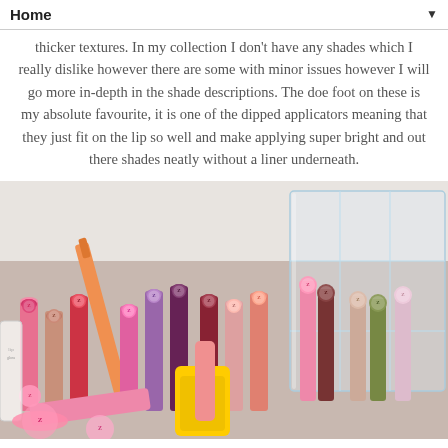Home ▼
thicker textures. In my collection I don't have any shades which I really dislike however there are some with minor issues however I will go more in-depth in the shade descriptions. The doe foot on these is my absolute favourite, it is one of the dipped applicators meaning that they just fit on the lip so well and make applying super bright and out there shades neatly without a liner underneath.
[Figure (photo): A collection of lip gloss and lipstick tubes arranged upright in a clear acrylic organizer, showing various shades including pinks, reds, purples, and neutrals with pink circular labels on the caps.]